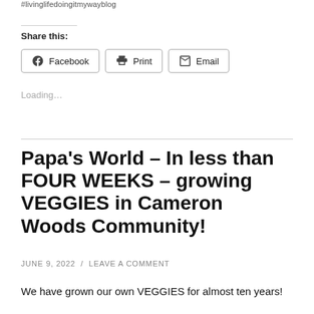#livinglifedomgitmywayblog
Share this:
Facebook   Print   Email
Loading...
Papa's World – In less than FOUR WEEKS – growing VEGGIES in Cameron Woods Community!
JUNE 9, 2022  /  LEAVE A COMMENT
We have grown our own VEGGIES for almost ten years!